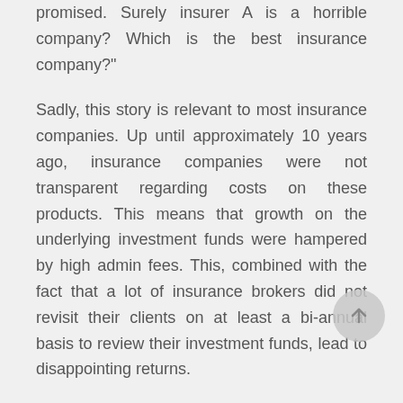promised. Surely insurer A is a horrible company? Which is the best insurance company?"
Sadly, this story is relevant to most insurance companies. Up until approximately 10 years ago, insurance companies were not transparent regarding costs on these products. This means that growth on the underlying investment funds were hampered by high admin fees. This, combined with the fact that a lot of insurance brokers did not revisit their clients on at least a bi-annual basis to review their investment funds, lead to disappointing returns.
Legislation totally reformed this situation. The focus now are on transparency and